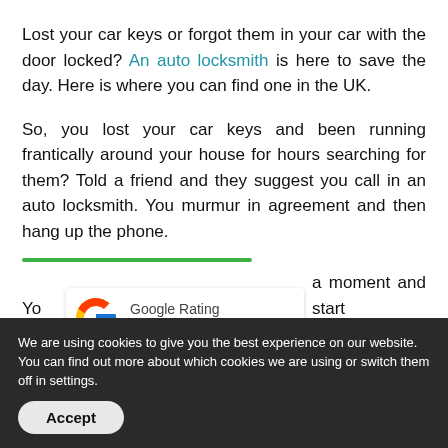Lost your car keys or forgot them in your car with the door locked? An auto locksmith is here to save the day. Here is where you can find one in the UK.
So, you lost your car keys and been running frantically around your house for hours searching for them? Told a friend and they suggest you call in an auto locksmith. You murmur in agreement and then hang up the phone.
[Figure (other): Green horizontal bar separator, followed by partial text 'Yo' and 'm' on left and right sides of a Google Rating widget showing 5.0 stars. Partial text on right reads 'a moment and start' and 'yourself: What on earth is']
We are using cookies to give you the best experience on our website. You can find out more about which cookies we are using or switch them off in settings.